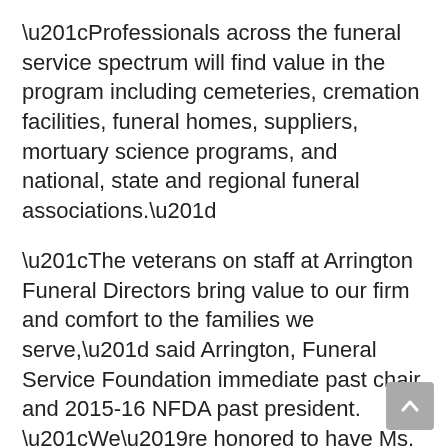“Professionals across the funeral service spectrum will find value in the program including cemeteries, cremation facilities, funeral homes, suppliers, mortuary science programs, and national, state and regional funeral associations.”
“The veterans on staff at Arrington Funeral Directors bring value to our firm and comfort to the families we serve,” said Arrington, Funeral Service Foundation immediate past chair and 2015-16 NFDA past president. “We’re honored to have Ms. Rosser join us for this exciting event and help us learn how we can engage our military heroes in our profession.”
Those interested in attending the free virtual launch may register at Journeytoservelaunch.com